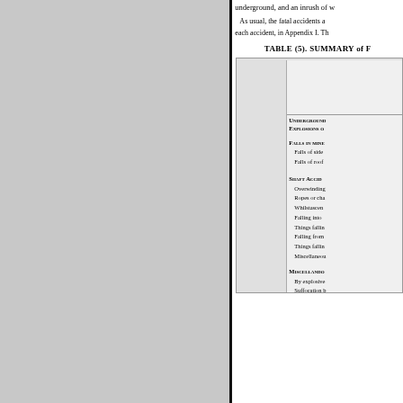underground, and an inrush of w...
As usual, the fatal accidents a... each accident, in Appendix I. Th...
TABLE (5). SUMMARY of F...
|  |  |
| --- | --- |
| UNDERGROUND |  |
| Explosions of... |  |
| Falls in mine... |  |
| Falls of side... |  |
| Falls of roof... |  |
| Shaft Accid... |  |
| Overwinding... |  |
| Ropes or cha... |  |
| Whilstascen... |  |
| Falling into... |  |
| Things fallin... |  |
| Falling from... |  |
| Things fallin... |  |
| Miscellaneou... |  |
| Miscellando... |  |
| By explosive... |  |
| Suffocation b... |  |
| By undergro... |  |
| Irruptions of... |  |
| Haulage : |  |
| (a) Ropes... |  |
| (b) Run of... |  |
| (c) Other ... |  |
| By machiner... |  |
| Sundries |  |
| Totals |  |
| Totals u... |  |
| On Surface... |  |